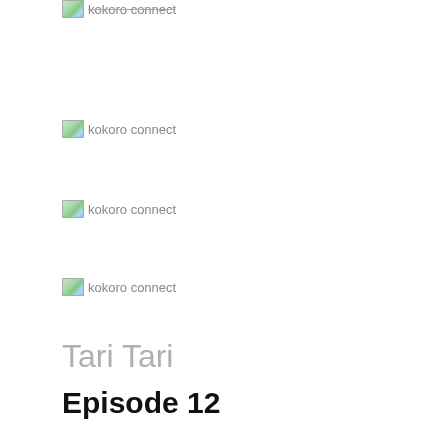[Figure (photo): Broken image placeholder labeled 'kokoro connect' (partially visible at top)]
[Figure (photo): Broken image placeholder labeled 'kokoro connect']
[Figure (photo): Broken image placeholder labeled 'kokoro connect']
[Figure (photo): Broken image placeholder labeled 'kokoro connect']
Tari Tari
Episode 12
[Figure (photo): Broken image placeholder labeled 'tari tari']
The high school cultural festival has been called off on account of the redevelopment construction. Despite the